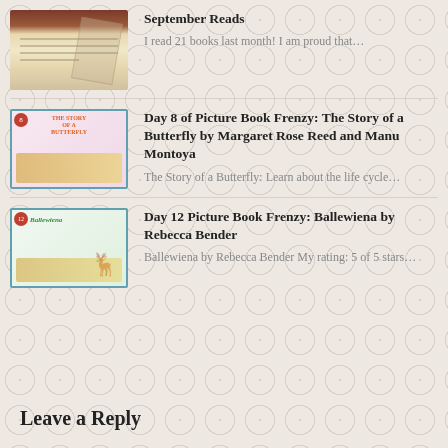[Figure (photo): Thumbnail image of a notebook/list page with handwritten entries]
September Reads
I read 21 books last month! I am proud that…
[Figure (photo): Thumbnail image of 'The Story of a Butterfly' picture book cover]
Day 8 of Picture Book Frenzy: The Story of a Butterfly by Margaret Rose Reed and Manu Montoya
The Story of a Butterfly: Learn about the life cycle…
[Figure (photo): Thumbnail image of 'Ballewiena' picture book cover]
Day 12 Picture Book Frenzy: Ballewiena by Rebecca Bender
Ballewiena by Rebecca Bender My rating: 5 of 5 stars…
Leave a Reply